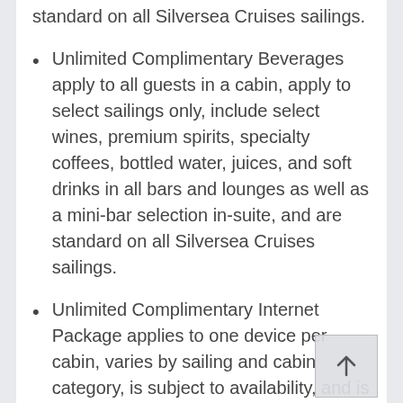standard on all Silversea Cruises sailings.
Unlimited Complimentary Beverages apply to all guests in a cabin, apply to select sailings only, include select wines, premium spirits, specialty coffees, bottled water, juices, and soft drinks in all bars and lounges as well as a mini-bar selection in-suite, and are standard on all Silversea Cruises sailings.
Unlimited Complimentary Internet Package applies to one device per cabin, varies by sailing and cabin category, is subject to availability, and is standard on all Silversea Cruises sailings. Please contact an Avoya Travel Silversea Cruises Specialist for more information.
Complimentary Shore Excursions include one Shore Excursion per port, vary by port, exclude select shore excursion itineraries, apply to all guests in a cabin, and apply to select sailings